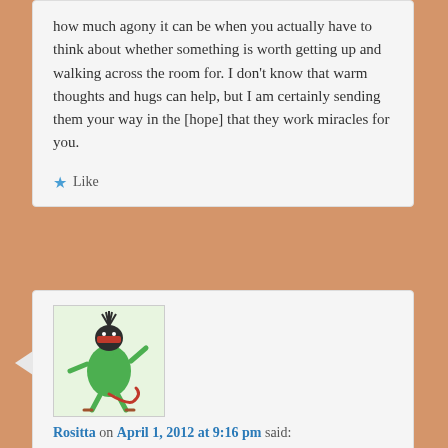how much agony it can be when you actually have to think about whether something is worth getting up and walking across the room for. I don't know that warm thoughts and hugs can help, but I am certainly sending them your way in the [hope] that they work miracles for you.
★ Like
[Figure (illustration): Green cartoon character avatar for Rositta]
Rositta on April 1, 2012 at 9:16 pm said:
You know I'm almost comvinced you need hip replacement. That groin pain is what I had in both hips and after surgery it was gone, completely. No more grinding. I started methotrexate today. I could no